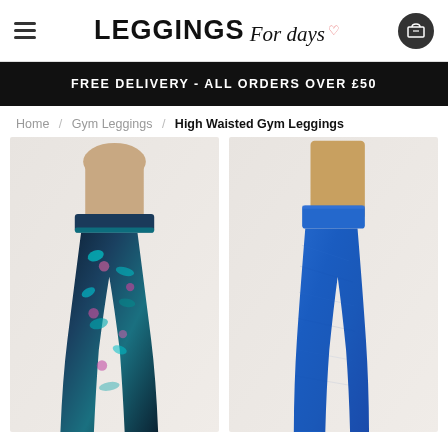[Figure (logo): Leggings For Days logo with hamburger menu icon on the left and shopping cart button on the right]
FREE DELIVERY - ALL ORDERS OVER £50
Home / Gym Leggings / High Waisted Gym Leggings
[Figure (photo): Woman wearing high waisted gym leggings with blue, black and pink abstract print pattern]
[Figure (photo): Woman wearing solid royal blue high waisted gym leggings, side view]